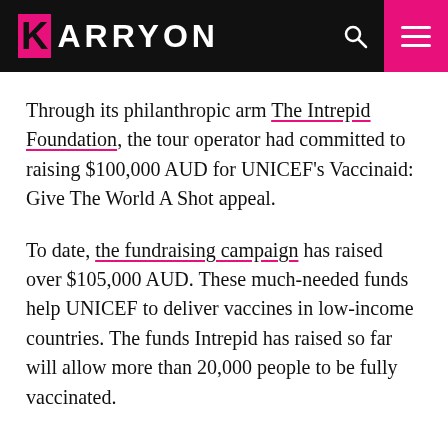KARRYON
Through its philanthropic arm The Intrepid Foundation, the tour operator had committed to raising $100,000 AUD for UNICEF's Vaccinaid: Give The World A Shot appeal.
To date, the fundraising campaign has raised over $105,000 AUD. These much-needed funds help UNICEF to deliver vaccines in low-income countries. The funds Intrepid has raised so far will allow more than 20,000 people to be fully vaccinated.